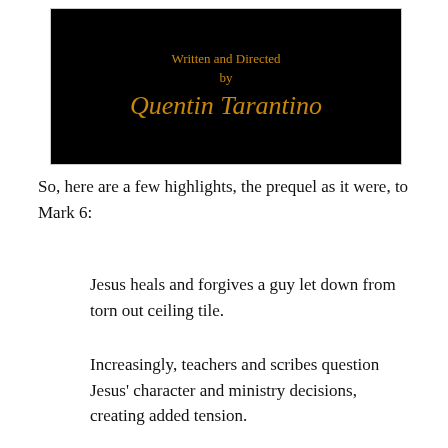[Figure (screenshot): Black background screen with golden/amber colored text reading 'Written and Directed by Quentin Tarantino']
So, here are a few highlights, the prequel as it were, to Mark 6:
Jesus heals and forgives a guy let down from torn out ceiling tile.
Increasingly, teachers and scribes question Jesus' character and ministry decisions, creating added tension.